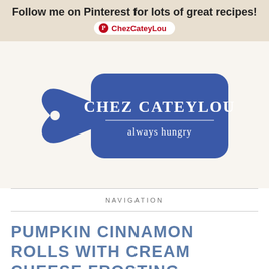Follow me on Pinterest for lots of great recipes! ChezCateyLou
[Figure (logo): Chez CateyLou cutting board logo — blue paddle-shaped cutting board with text 'CHEZ CATEYLOU always hungry' in white]
NAVIGATION
PUMPKIN CINNAMON ROLLS WITH CREAM CHEESE FROSTING